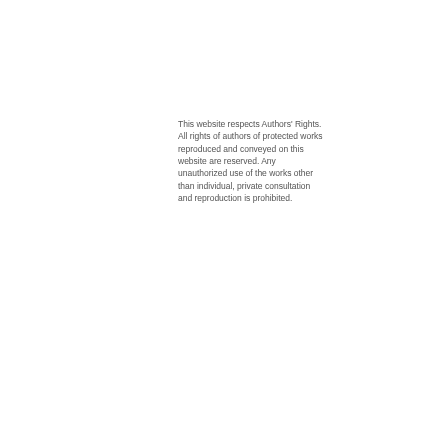This website respects Authors' Rights. All rights of authors of protected works reproduced and conveyed on this website are reserved. Any unauthorized use of the works other than individual, private consultation and reproduction is prohibited.